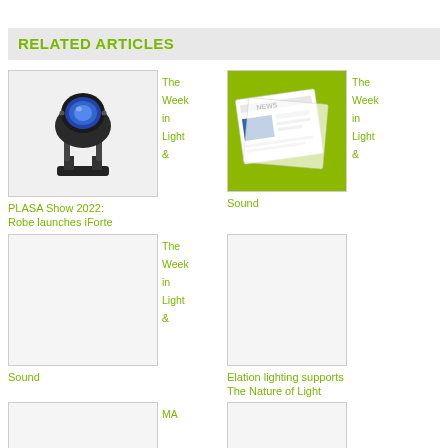RELATED ARTICLES
[Figure (photo): Moving stage light / spotlight fixture (Robe iForte) on white background]
PLASA Show 2022: Robe launches iForte
[Figure (photo): Newspaper with NEWS headline on green/yellow background]
The Week in Light & Sound
[Figure (photo): Blank image placeholder]
The Week in Light & Sound
[Figure (photo): Blank image placeholder]
Elation lighting supports The Nature of Light
[Figure (photo): Blank image placeholder]
MA Lighting releases grandMA3 software
[Figure (photo): Blank image placeholder]
PLASA Show 2022: Sauce Live Light